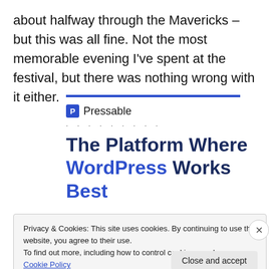about halfway through the Mavericks – but this was all fine. Not the most memorable evening I've spent at the festival, but there was nothing wrong with it either.
[Figure (logo): Pressable logo with blue P icon and dotted separator line]
The Platform Where WordPress Works Best
Privacy & Cookies: This site uses cookies. By continuing to use this website, you agree to their use. To find out more, including how to control cookies, see here: Cookie Policy